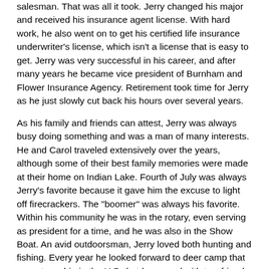salesman. That was all it took. Jerry changed his major and received his insurance agent license. With hard work, he also went on to get his certified life insurance underwriter's license, which isn't a license that is easy to get. Jerry was very successful in his career, and after many years he became vice president of Burnham and Flower Insurance Agency. Retirement took time for Jerry as he just slowly cut back his hours over several years.
As his family and friends can attest, Jerry was always busy doing something and was a man of many interests. He and Carol traveled extensively over the years, although some of their best family memories were made at their home on Indian Lake. Fourth of July was always Jerry's favorite because it gave him the excuse to light off firecrackers. The "boomer" was always his favorite. Within his community he was in the rotary, even serving as president for a time, and he was also in the Show Boat. An avid outdoorsman, Jerry loved both hunting and fishing. Every year he looked forward to deer camp that was at a cabin in the U.P. that he owned with two friends. Jerry also went to fish camp. He